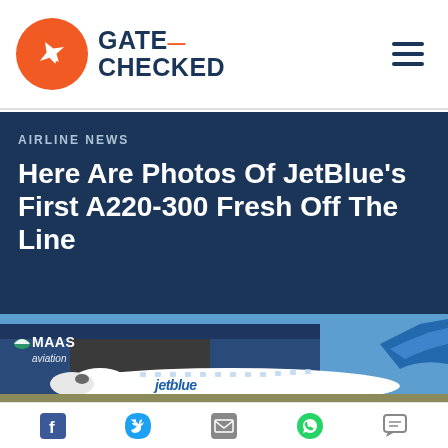Gate Checked
AIRLINE NEWS
Here Are Photos Of JetBlue's First A220-300 Fresh Off The Line
[Figure (photo): JetBlue A220-300 aircraft in front of MAAS Aviation hangar, showing the plane's front section with JetBlue livery and blue wave tail art]
Social share icons: Facebook, Twitter, Email, WhatsApp, Comments